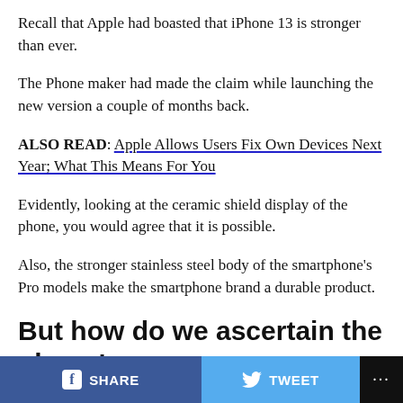Recall that Apple had boasted that iPhone 13 is stronger than ever.
The Phone maker had made the claim while launching the new version a couple of months back.
ALSO READ: Apple Allows Users Fix Own Devices Next Year; What This Means For You
Evidently, looking at the ceramic shield display of the phone, you would agree that it is possible.
Also, the stronger stainless steel body of the smartphone's Pro models make the smartphone brand a durable product.
But how do we ascertain the phone's durability?
SHARE  TWEET  ...